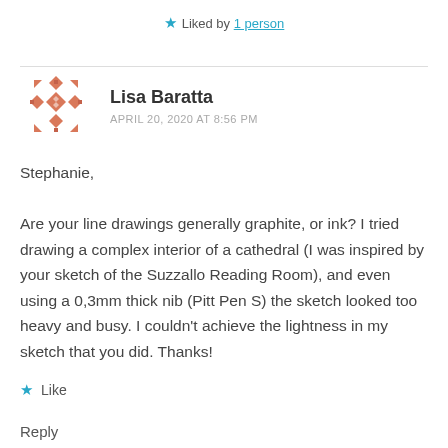Liked by 1 person
Lisa Baratta
APRIL 20, 2020 AT 8:56 PM
Stephanie,
Are your line drawings generally graphite, or ink? I tried drawing a complex interior of a cathedral (I was inspired by your sketch of the Suzzallo Reading Room), and even using a 0,3mm thick nib (Pitt Pen S) the sketch looked too heavy and busy. I couldn't achieve the lightness in my sketch that you did. Thanks!
Like
Reply